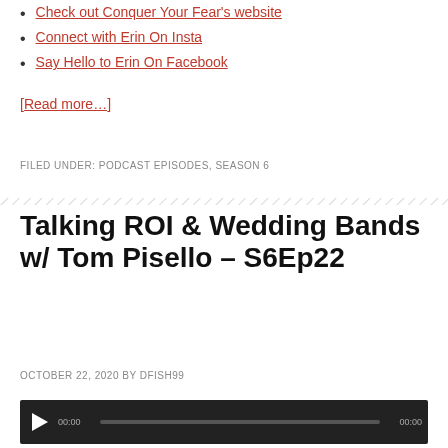Check out Conquer Your Fear's website
Connect with Erin On Insta
Say Hello to Erin On Facebook
[Read more…]
FILED UNDER: PODCAST EPISODES, SEASON 6
Talking ROI & Wedding Bands w/ Tom Pisello – S6Ep22
OCTOBER 22, 2020 BY DFISH99
[Figure (other): Audio player control bar with play button, timestamp, and progress bar]